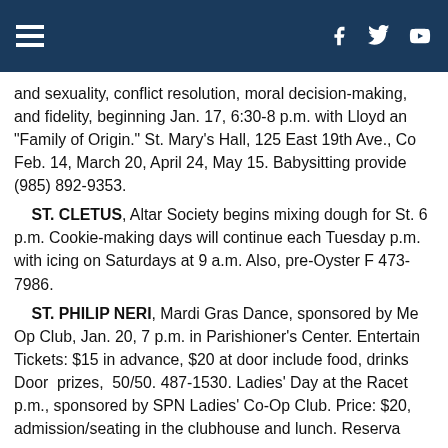Navigation header with hamburger menu and social icons (Facebook, Twitter, YouTube)
and sexuality, conflict resolution, moral decision-making, and fidelity, beginning Jan. 17, 6:30-8 p.m. with Lloyd an "Family of Origin." St. Mary's Hall, 125 East 19th Ave., Co Feb. 14, March 20, April 24, May 15. Babysitting provide (985) 892-9353.
ST. CLETUS, Altar Society begins mixing dough for St. 6 p.m. Cookie-making days will continue each Tuesday p.m. with icing on Saturdays at 9 a.m. Also, pre-Oyster F 473-7986.
ST. PHILIP NERI, Mardi Gras Dance, sponsored by Me Op Club, Jan. 20, 7 p.m. in Parishioner's Center. Entertain Tickets: $15 in advance, $20 at door include food, drinks Door prizes, 50/50. 487-1530. Ladies' Day at the Racet p.m., sponsored by SPN Ladies' Co-Op Club. Price: $20, admission/seating in the clubhouse and lunch. Reserva